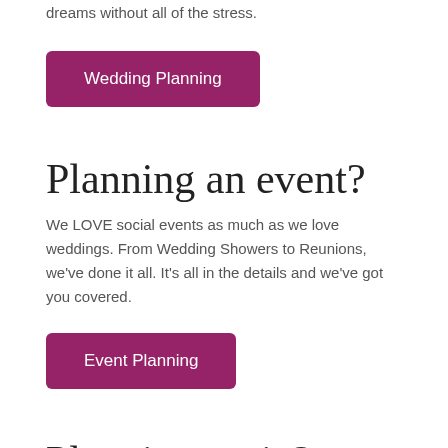dreams without all of the stress.
[Figure (other): Purple rounded rectangle button labeled 'Wedding Planning']
Planning an event?
We LOVE social events as much as we love weddings. From Wedding Showers to Reunions, we've done it all. It's all in the details and we've got you covered.
[Figure (other): Purple rounded rectangle button labeled 'Event Planning']
Planning a trip?
Need a weekend getaway during your wedding planning, time away with your family or help planning your honeymoon? We're happy to help!